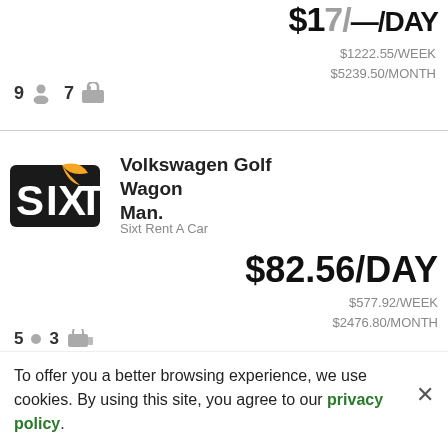$1222.55/WEEK $5239.50/MONTH
9 [person icon] 7 [bag icon]
[Figure (logo): Sixt Rent A Car logo — black and orange SIXT wordmark]
Volkswagen Golf Wagon Man.
Sixt Rent A Car
$82.56/DAY
$577.92/WEEK $2476.80/MONTH
5 [dot] 3 [bags icon]
To offer you a better browsing experience, we use cookies. By using this site, you agree to our privacy policy.